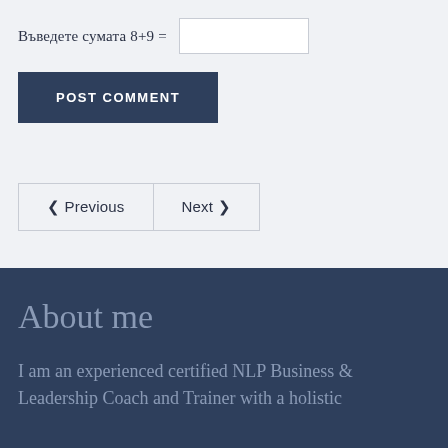Въведете сумата 8+9 =
POST COMMENT
❮ Previous   Next ❯
About me
I am an experienced certified NLP Business & Leadership Coach and Trainer with a holistic